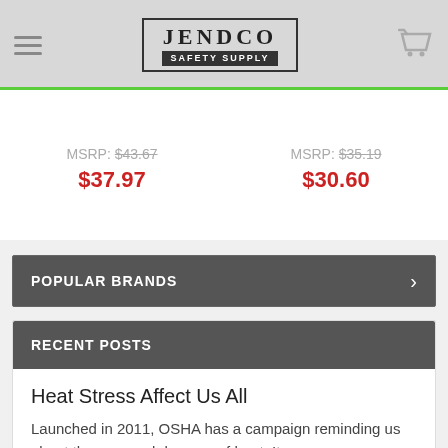JENDCO SAFETY SUPPLY
MSRP: $43.67 — $37.97
MSRP: $35.19 — $30.60
POPULAR BRANDS
RECENT POSTS
Heat Stress Affect Us All
Launched in 2011, OSHA has a campaign reminding us about the very real dangers of heat. It can ...
Read More